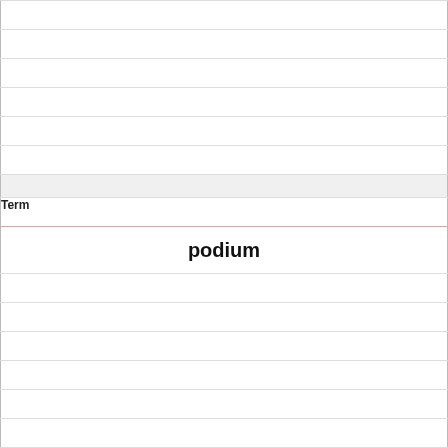|  |
|  |
|  |
|  |
|  |
|  |
| [shaded] |
| Term |
| podium |
|  |
|  |
|  |
|  |
|  |
|  |
| Definition |
| raised platform |
|  |